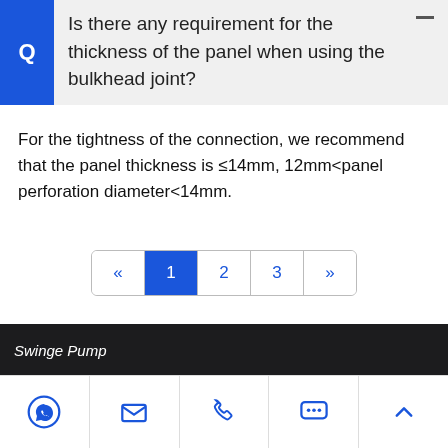Q  Is there any requirement for the thickness of the panel when using the bulkhead joint?
For the tightness of the connection, we recommend that the panel thickness is ≤14mm, 12mm<panel perforation diameter<14mm.
Swinge Pump